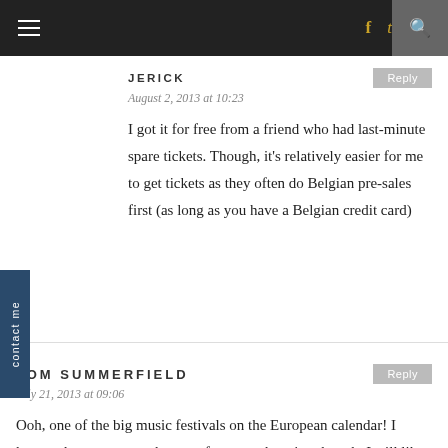Navigation bar with hamburger menu, social icons (f, t, camera), and search
JERICK
August 2, 2013 at 10:23
I got it for free from a friend who had last-minute spare tickets. Though, it's relatively easier for me to get tickets as they often do Belgian pre-sales first (as long as you have a Belgian credit card)
TOM SUMMERFIELD
July 21, 2013 at 09:06
Ooh, one of the big music festivals on the European calendar! I know what you mean about preferences changing though. I still like